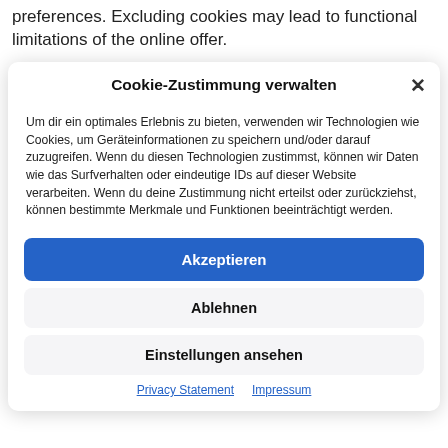preferences. Excluding cookies may lead to functional limitations of the online offer.
Cookie-Zustimmung verwalten
Um dir ein optimales Erlebnis zu bieten, verwenden wir Technologien wie Cookies, um Geräteinformationen zu speichern und/oder darauf zuzugreifen. Wenn du diesen Technologien zustimmst, können wir Daten wie das Surfverhalten oder eindeutige IDs auf dieser Website verarbeiten. Wenn du deine Zustimmung nicht erteilst oder zurückziehst, können bestimmte Merkmale und Funktionen beeinträchtigt werden.
Akzeptieren
Ablehnen
Einstellungen ansehen
Privacy Statement  Impressum